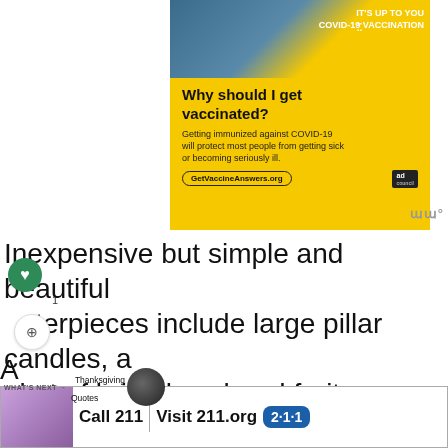[Figure (infographic): COVID-19 vaccination advertisement with yellow background. Shows man with beard and text 'IT'S UP TO YOU COVID-19 VACCINATION'. Headline: 'Why should I get vaccinated?' with body text about COVID-19 immunization. URL: GetVaccineAnswers.org]
Inexpensive but simple and beautiful centerpieces include large pillar candles, a ket of brightly colored fruit or vegetables, such as apples, squash, peppers, pumpkin, etc.
[Figure (infographic): Bottom advertisement: Call 211 | Visit 211.org with 2-1-1 logo badge. Shows woman on phone.]